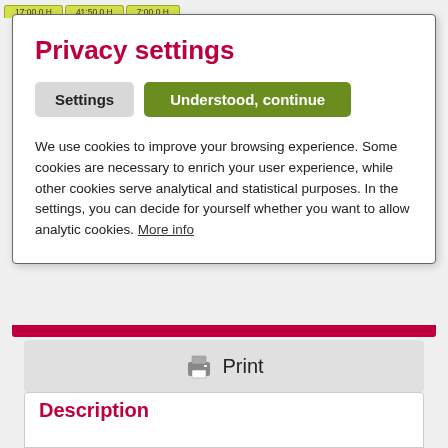17:00 0 h    41:50 0 h    7:00 0 h
Privacy settings
Settings   Understood, continue
We use cookies to improve your browsing experience. Some cookies are necessary to enrich your user experience, while other cookies serve analytical and statistical purposes. In the settings, you can decide for yourself whether you want to allow analytic cookies. More info
[Figure (logo): Print button bar with printer icon and Print label]
[Figure (logo): Four certification badges: Free of Gluten, Sensitiv, Made in Germany, All Life Stages]
Description